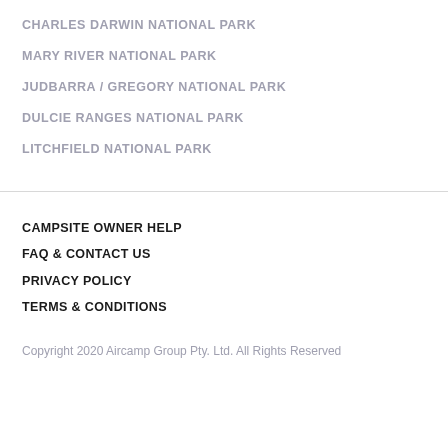CHARLES DARWIN NATIONAL PARK
MARY RIVER NATIONAL PARK
JUDBARRA / GREGORY NATIONAL PARK
DULCIE RANGES NATIONAL PARK
LITCHFIELD NATIONAL PARK
CAMPSITE OWNER HELP
FAQ & CONTACT US
PRIVACY POLICY
TERMS & CONDITIONS
Copyright 2020 Aircamp Group Pty. Ltd. All Rights Reserved